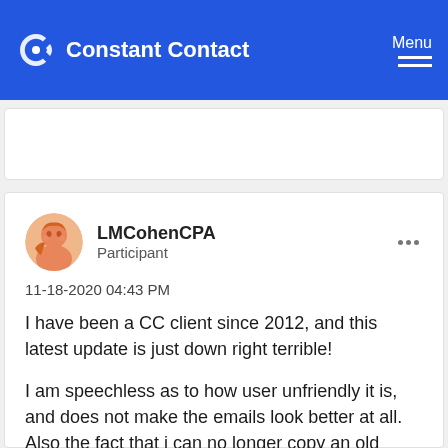Constant Contact — Menu
LMCohenCPA
Participant
11-18-2020 04:43 PM
I have been a CC client since 2012, and this latest update is just down right terrible!
I am speechless as to how user unfriendly it is, and does not make the emails look better at all. Also the fact that i can no longer copy an old campaign